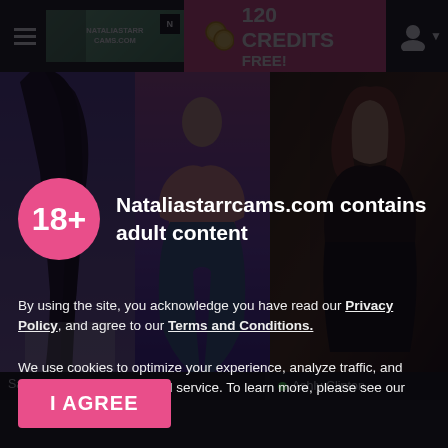120 CREDITS FREE!
[Figure (screenshot): Website header with hamburger menu, NataliastarrCams.com logo, 120 Credits Free pink button, and user icon]
[Figure (photo): Two photo panels on left: woman with long black hair, and woman in pink top with jeans]
[Figure (photo): Photo panel on right: woman with red-brown hair in dark setting]
Samantha Saenzz
Ashly Clinton
Nataliastarrcams.com contains adult content
By using the site, you acknowledge you have read our Privacy Policy, and agree to our Terms and Conditions.
We use cookies to optimize your experience, analyze traffic, and deliver more personalized service. To learn more, please see our Privacy Policy.
I AGREE